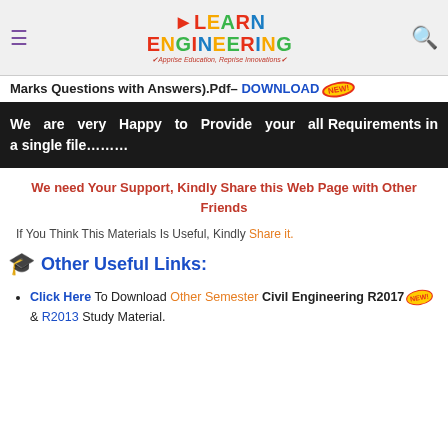Learn Engineering – Apprise Education, Reprise Innovations
Marks Questions with Answers).Pdf– DOWNLOAD
We are very Happy to Provide your all Requirements in a single file………
We need Your Support, Kindly Share this Web Page with Other Friends
If You Think This Materials Is Useful, Kindly Share it.
Other Useful Links:
Click Here To Download Other Semester Civil Engineering R2017 & R2013 Study Material.